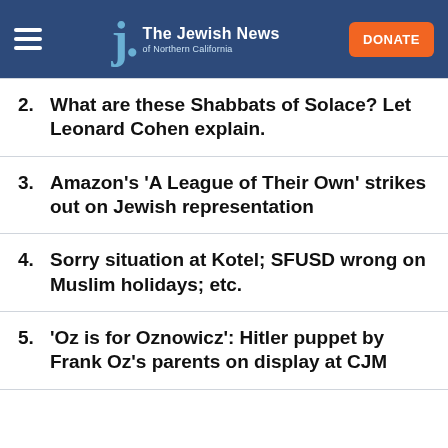The Jewish News of Northern California
2. What are these Shabbats of Solace? Let Leonard Cohen explain.
3. Amazon's 'A League of Their Own' strikes out on Jewish representation
4. Sorry situation at Kotel; SFUSD wrong on Muslim holidays; etc.
5. 'Oz is for Oznowicz': Hitler puppet by Frank Oz’s parents on display at CJM